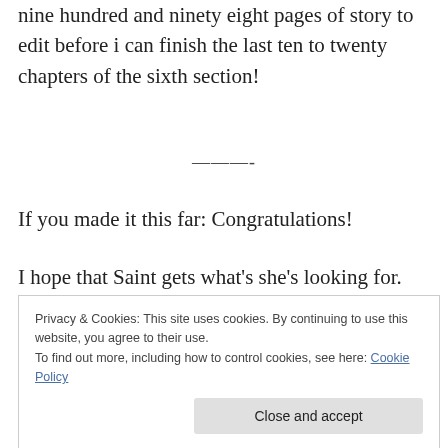nine hundred and ninety eight pages of story to edit before i can finish the last ten to twenty chapters of the sixth section!
———-
If you made it this far: Congratulations!
I hope that Saint gets what's she's looking for. Although, I'm not sure what that is. Posting a creative work and
Privacy & Cookies: This site uses cookies. By continuing to use this website, you agree to their use.
To find out more, including how to control cookies, see here: Cookie Policy
Close and accept
Each author receives feedback on his/her work in a